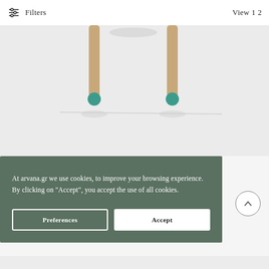Filters   View 1 2
[Figure (photo): Bottom portion of furniture legs (wood with teal/turquoise rubber caps) on a light grey background]
At arvana.gr we use cookies, to improve your browsing experience. By clicking on "Accept", you accept the use of all cookies.
Preferences
Accept